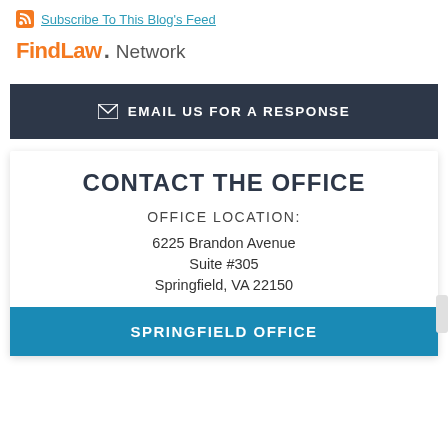Subscribe To This Blog's Feed
[Figure (logo): FindLaw Network logo with orange FindLaw brand text and gray Network text]
EMAIL US FOR A RESPONSE
CONTACT THE OFFICE
OFFICE LOCATION:
6225 Brandon Avenue
Suite #305
Springfield, VA 22150
SPRINGFIELD OFFICE